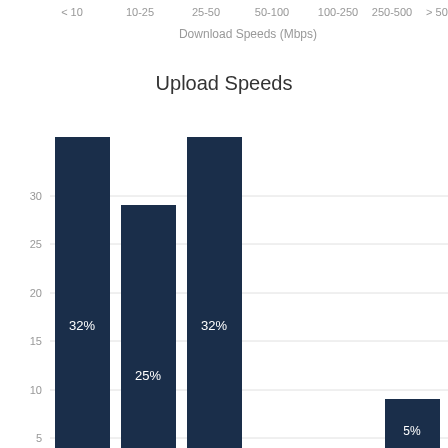[Figure (histogram): Upload Speeds]